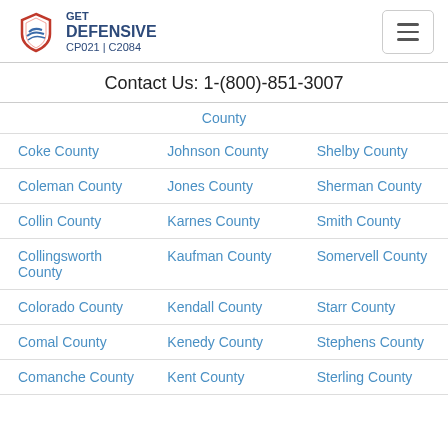GET DEFENSIVE CP021 | C2084
Contact Us: 1-(800)-851-3007
| County |  |  |
| --- | --- | --- |
| Coke County | Johnson County | Shelby County |
| Coleman County | Jones County | Sherman County |
| Collin County | Karnes County | Smith County |
| Collingsworth County | Kaufman County | Somervell County |
| Colorado County | Kendall County | Starr County |
| Comal County | Kenedy County | Stephens County |
| Comanche County | Kent County | Sterling County |